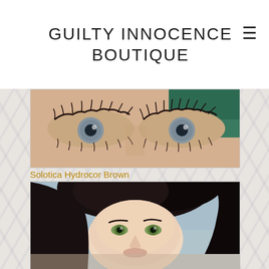GUILTY INNOCENCE BOUTIQUE
[Figure (photo): Close-up photo of a woman's eyes with dramatic false lashes, showing brown/grey irises]
Solotica Hydrocor Brown
$21.50
Sold out
[Figure (photo): Photo of a dark-haired woman with green eyes looking upward, on a light blue-grey background]